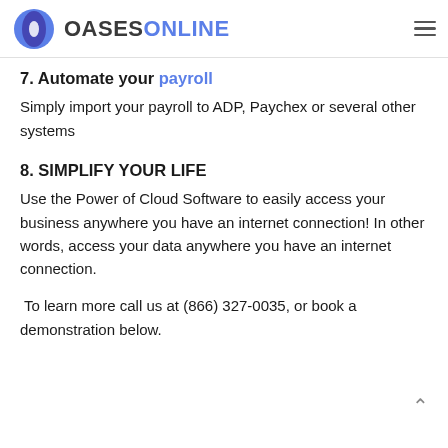OASESONLINE
7. Automate your payroll
Simply import your payroll to ADP, Paychex or several other systems
8. SIMPLIFY YOUR LIFE
Use the Power of Cloud Software to easily access your business anywhere you have an internet connection! In other words, access your data anywhere you have an internet connection.
To learn more call us at (866) 327-0035, or book a demonstration below.